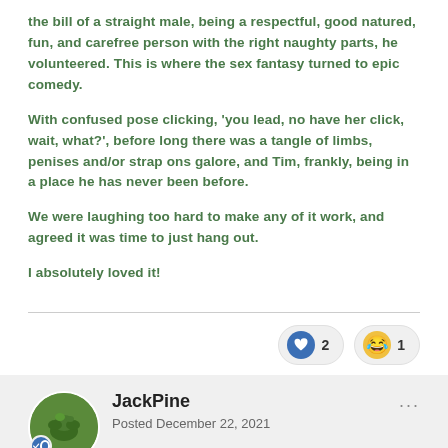the bill of a straight male, being a respectful, good natured, fun, and carefree person with the right naughty parts, he volunteered.  This is where the sex fantasy turned to epic comedy.
With confused pose clicking, 'you lead, no have her click, wait, what?', before long there was a tangle of limbs, penises and/or strap ons galore, and Tim, frankly,  being in a place he has never been before.
We were laughing too hard to make any of it work, and agreed it was time to just hang out.
I absolutely loved it!
[Figure (infographic): Reaction badges: heart icon with count 2, laughing emoji with count 1]
JackPine
Posted December 22, 2021